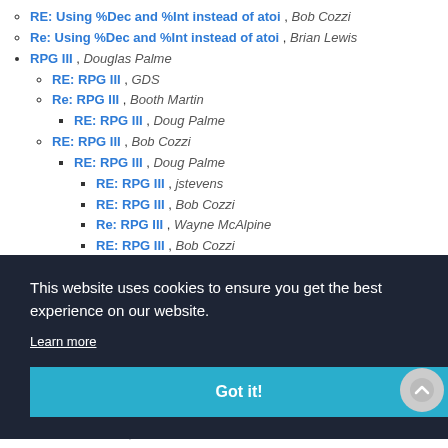RE: Using %Dec and %Int instead of atoi , Bob Cozzi
Re: Using %Dec and %Int instead of atoi , Brian Lewis
RPG III , Douglas Palme
RE: RPG III , GDS
Re: RPG III , Booth Martin
RE: RPG III , Doug Palme
RE: RPG III , Bob Cozzi
RE: RPG III , Doug Palme
RE: RPG III , jstevens
RE: RPG III , Bob Cozzi
Re: RPG III , Wayne McAlpine
RE: RPG III , Bob Cozzi
This website uses cookies to ensure you get the best experience on our website. Learn more Got it!
RE: RPG III , Ron Power